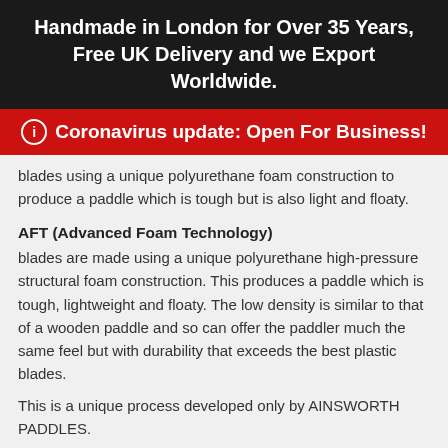Handmade in London for Over 35 Years, Free UK Delivery and we Export Worldwide.
ℹ Coronavirus update: Open For Business!
blades using a unique polyurethane foam construction to produce a paddle which is tough but is also light and floaty.
AFT  (Advanced Foam Technology)
blades are made using a unique polyurethane high-pressure structural foam construction. This produces a paddle which is tough, lightweight and floaty. The low density is similar to that of a wooden paddle and so can offer the paddler much the same feel but with durability that exceeds the best plastic blades.
This is a unique process developed only by AINSWORTH PADDLES.
One-Piece Carbon Straight Shaft
AINSWORTH uses a carbon composite prepreg shaft with a percentage of bi-axial glass that increases the UTS ( ultimate